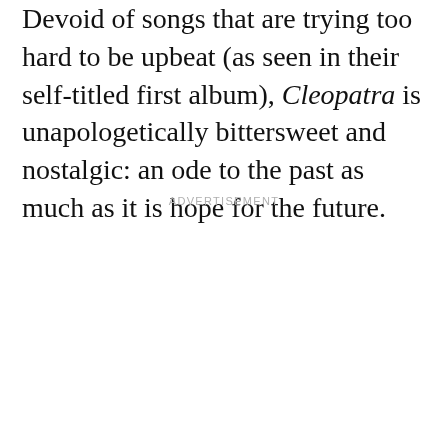Devoid of songs that are trying too hard to be upbeat (as seen in their self-titled first album), Cleopatra is unapologetically bittersweet and nostalgic: an ode to the past as much as it is hope for the future.
ADVERTISEMENT